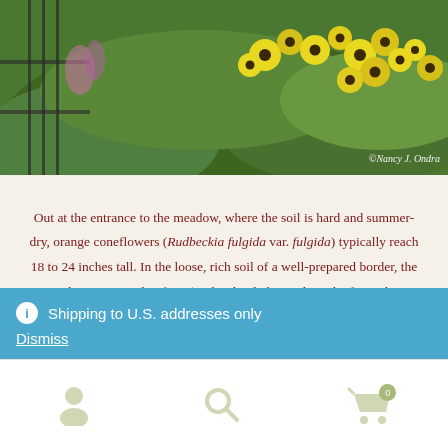[Figure (photo): Garden photo showing yellow/orange coneflowers (Rudbeckia fulgida) blooming among green foliage behind a dark metal fence, with copyright notice '©Nancy J. Ondra' in bottom right corner]
Out at the entrance to the meadow, where the soil is hard and summer-dry, orange coneflowers (Rudbeckia fulgida var. fulgida) typically reach 18 to 24 inches tall. In the loose, rich soil of a well-prepared border, the same plants can reach 4 feet. (In the shot below, I'd cut the front clumps back by half in early summer but obviously missed the back one.)
ⓘ Shipping to U.S. addresses only
Dismiss